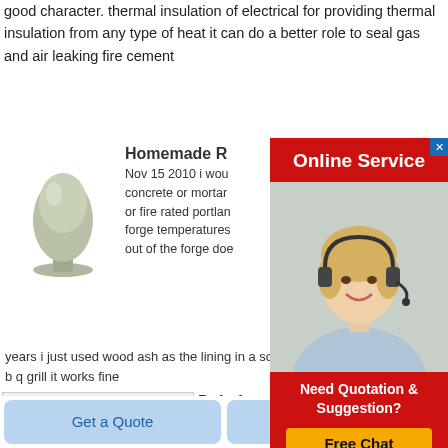good character. thermal insulation of electrical for providing thermal insulation from any type of heat it can do a better role to seal gas and air leaking fire cement
[Figure (screenshot): Online Service ad with woman wearing headset, red background, with Free Chat button]
[Figure (photo): Small powder/granule heap on a pedestal, gray-green color]
Homemade R
Nov 15 2010  i wou concrete or mortar or fire rated portlan forge temperatures out of the forge doe years i just used wood ash as the lining in a solid fuel f b q grill it works fine
[Figure (photo): White rectangular flat panels/boards stacked, cement/insulation boards]
Dalmia
Dalmia ocl has a combined production capacity of 250 000 tonnes across four locations in india
Get a Quote
Chat Now